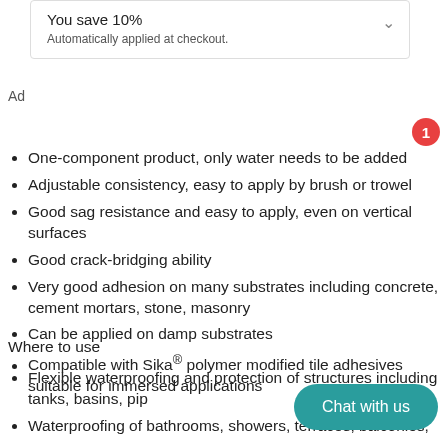You save 10%
Automatically applied at checkout.
Ad
One-component product, only water needs to be added
Adjustable consistency, easy to apply by brush or trowel
Good sag resistance and easy to apply, even on vertical surfaces
Good crack-bridging ability
Very good adhesion on many substrates including concrete, cement mortars, stone, masonry
Can be applied on damp substrates
Compatible with Sika® polymer modified tile adhesives suitable for immersed applications
Where to use
Flexible waterproofing and protection of structures including tanks, basins, pip
Waterproofing of bathrooms, showers, terraces, balconies,